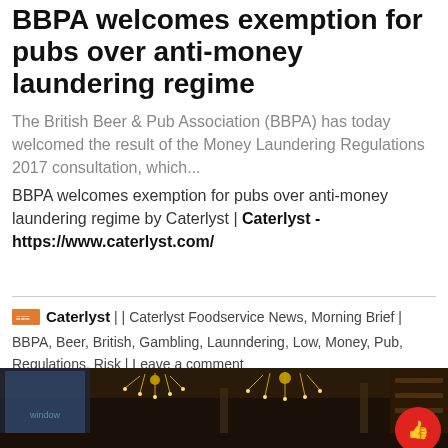BBPA welcomes exemption for pubs over anti-money laundering regime
The British Beer & Pub Association (BBPA) has today welcomed the result of the Money Laundering Regulations 2017 consultation, which...
BBPA welcomes exemption for pubs over anti-money laundering regime by Caterlyst | Caterlyst - https://www.caterlyst.com/
Caterlyst | | Caterlyst Foodservice News, Morning Brief | BBPA, Beer, British, Gambling, Launndering, Low, Money, Pub, Regulations, Risk | Leave a comment
[Figure (photo): Interior of a traditional British pub with ornate chandeliers and dark wood furnishings]